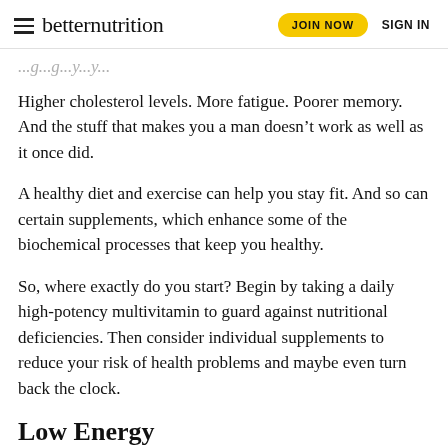betternutrition | JOIN NOW | SIGN IN
...g...g...y...y...
Higher cholesterol levels. More fatigue. Poorer memory. And the stuff that makes you a man doesn’t work as well as it once did.
A healthy diet and exercise can help you stay fit. And so can certain supplements, which enhance some of the biochemical processes that keep you healthy.
So, where exactly do you start? Begin by taking a daily high-potency multivitamin to guard against nutritional deficiencies. Then consider individual supplements to reduce your risk of health problems and maybe even turn back the clock.
Low Energy